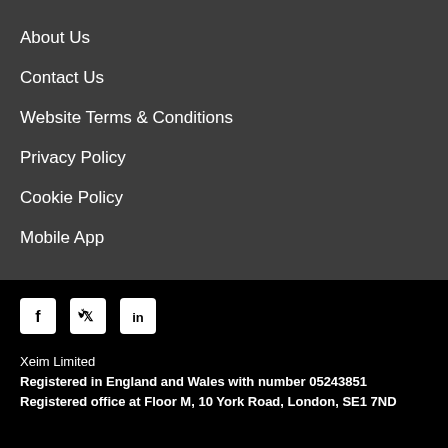About Us
Contact Us
Website Terms & Conditions
Privacy Policy
Cookie Policy
Mobile App
[Figure (infographic): Social media icons: Facebook, Twitter, LinkedIn]
Xeim Limited
Registered in England and Wales with number 05243851
Registered office at Floor M, 10 York Road, London, SE1 7ND